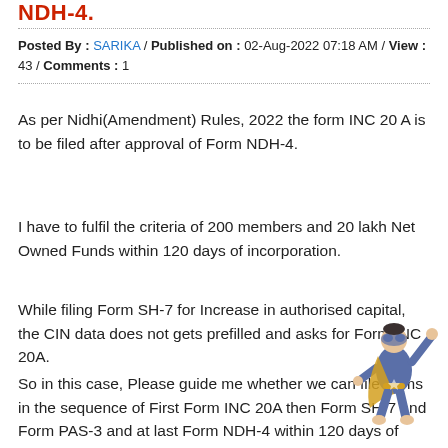NDH-4.
Posted By : SARIKA / Published on : 02-Aug-2022 07:18 AM / View : 43 / Comments : 1
As per Nidhi(Amendment) Rules, 2022 the form INC 20 A is to be filed after approval of Form NDH-4.
I have to fulfil the criteria of 200 members and 20 lakh Net Owned Funds within 120 days of incorporation.
While filing Form SH-7 for Increase in authorised capital, the CIN data does not gets prefilled and asks for Form INC 20A.
So in this case, Please guide me whether we can file forms in the sequence of First Form INC 20A then Form SH-7 and Form PAS-3 and at last Form NDH-4 within 120 days of incorporation?
[Figure (illustration): Cartoon superhero figure in blue and yellow costume, flying pose, bottom right corner]